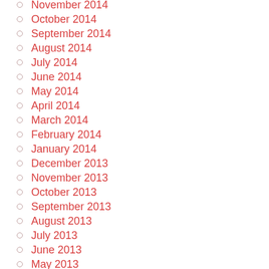November 2014
October 2014
September 2014
August 2014
July 2014
June 2014
May 2014
April 2014
March 2014
February 2014
January 2014
December 2013
November 2013
October 2013
September 2013
August 2013
July 2013
June 2013
May 2013